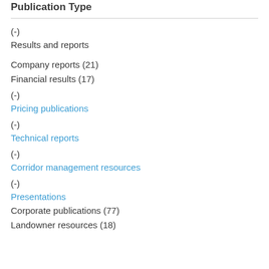Publication Type
(-)
Results and reports
Company reports (21)
Financial results (17)
(-)
Pricing publications
(-)
Technical reports
(-)
Corridor management resources
(-)
Presentations
Corporate publications (77)
Landowner resources (18)